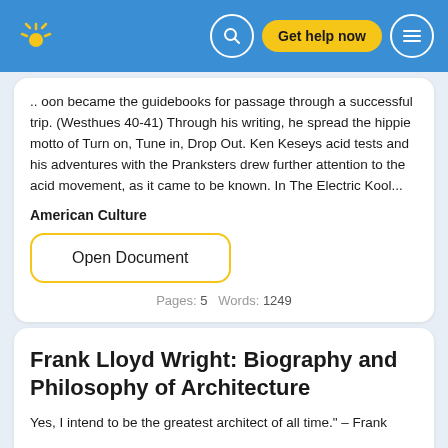[Figure (screenshot): Blue navigation header bar with a yellow splash logo on the left, search icon, 'Get help now' yellow button, and hamburger menu icon on the right]
.. oon became the guidebooks for passage through a successful trip. (Westhues 40-41) Through his writing, he spread the hippie motto of Turn on, Tune in, Drop Out. Ken Keseys acid tests and his adventures with the Pranksters drew further attention to the acid movement, as it came to be known. In The Electric Kool...
American Culture
Open Document
Pages: 5   Words: 1249
Frank Lloyd Wright: Biography and Philosophy of Architecture
Yes, I intend to be the greatest architect of all time." – Frank